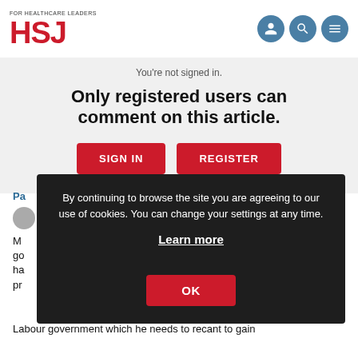FOR HEALTHCARE LEADERS HSJ
You're not signed in.
Only registered users can comment on this article.
SIGN IN   REGISTER
Pa
M go ha pr
By continuing to browse the site you are agreeing to our use of cookies. You can change your settings at any time.
Learn more
OK
Labour government which he needs to recant to gain